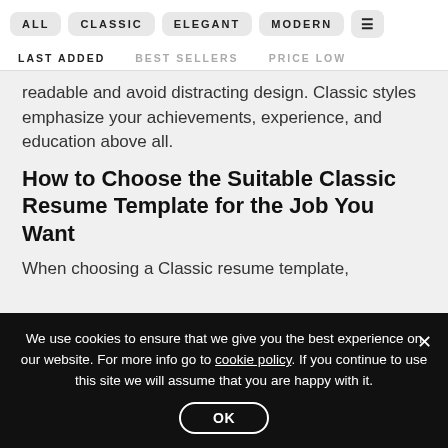ALL   CLASSIC   ELEGANT   MODERN   ☰
LAST ADDED   BEST SELLERS   PRICE LOW
readable and avoid distracting design. Classic styles emphasize your achievements, experience, and education above all.
How to Choose the Suitable Classic Resume Template for the Job You Want
When choosing a Classic resume template,
We use cookies to ensure that we give you the best experience on our website. For more info go to cookie policy. If you continue to use this site we will assume that you are happy with it.
OK